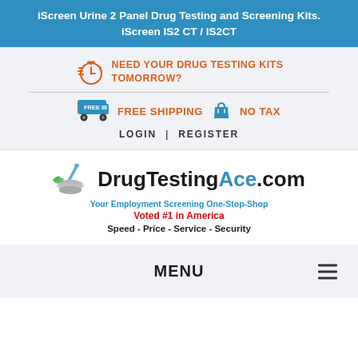iScreen Urine 2 Panel Drug Testing and Screening Kits. iScreen IS2 CT / IS2CT
NEED YOUR DRUG TESTING KITS TOMORROW?
FREE SHIPPING   NO TAX
LOGIN | REGISTER
[Figure (logo): DrugTestingAce.com logo with mortar and pestle icon, tagline 'Your Employment Screening One-Stop-Shop', 'Voted #1 in America', 'Speed - Price - Service - Security']
MENU